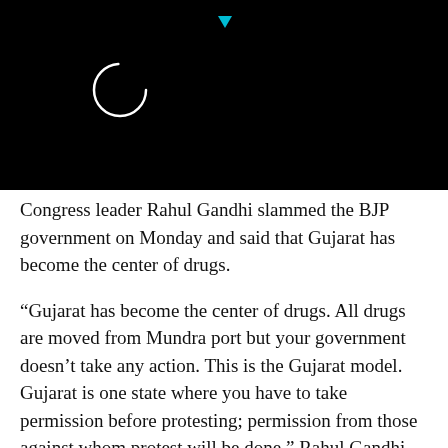[Figure (screenshot): Black video player area with a circular loading/play icon on left and a small cyan triangle (play button indicator) at top center]
Congress leader Rahul Gandhi slammed the BJP government on Monday and said that Gujarat has become the center of drugs.
“Gujarat has become the center of drugs. All drugs are moved from Mundra port but your government doesn’t take any action. This is the Gujarat model. Gujarat is one state where you have to take permission before protesting; permission from those against whom protest will be done,” Rahul Gandhi said.